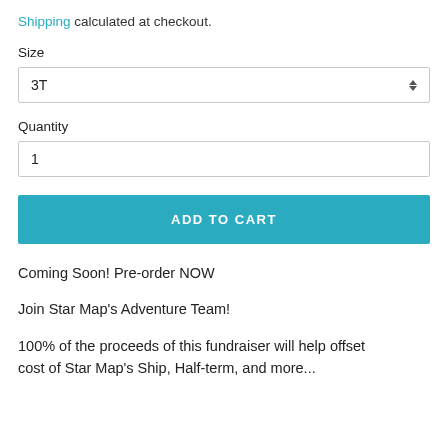Shipping calculated at checkout.
Size
3T
Quantity
1
ADD TO CART
Coming Soon! Pre-order NOW
Join Star Map's Adventure Team!
100% of the proceeds of this fundraiser will help offset cost of Star Map's Ship, Half-term, and more...